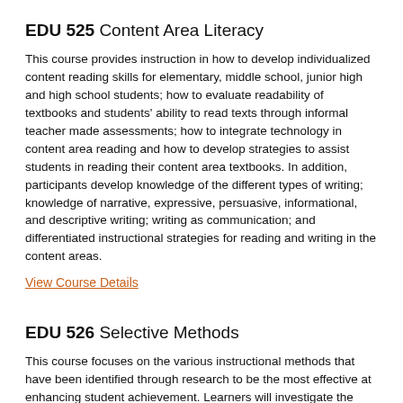EDU 525 Content Area Literacy
This course provides instruction in how to develop individualized content reading skills for elementary, middle school, junior high and high school students; how to evaluate readability of textbooks and students' ability to read texts through informal teacher made assessments; how to integrate technology in content area reading and how to develop strategies to assist students in reading their content area textbooks. In addition, participants develop knowledge of the different types of writing; knowledge of narrative, expressive, persuasive, informational, and descriptive writing; writing as communication; and differentiated instructional strategies for reading and writing in the content areas.
View Course Details
EDU 526 Selective Methods
This course focuses on the various instructional methods that have been identified through research to be the most effective at enhancing student achievement. Learners will investigate the targeted strategies addressed in the Selective Methods course. The intention is to provide learners enough experience with the strategies to use